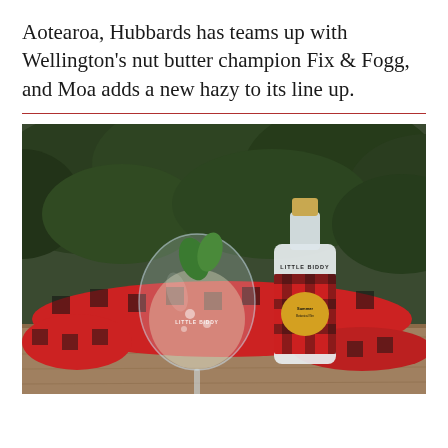Aotearoa, Hubbards has teams up with Wellington's nut butter champion Fix & Fogg, and Moa adds a new hazy to its line up.
[Figure (photo): Photo of a gin cocktail in a large balloon glass labeled 'Little Biddy' garnished with green leaves and ice, next to a bottle of Little Biddy gin with a red tartan label and gold oval, both placed on a wooden table with a red and black plaid fabric draped behind, with green trees in the background.]